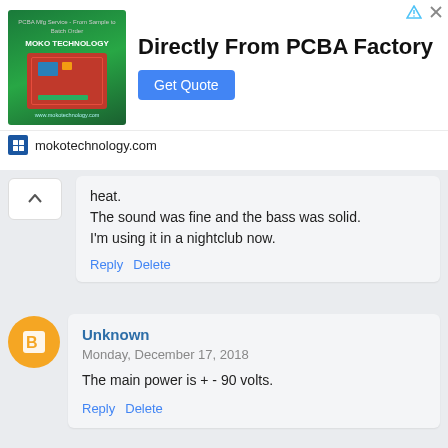[Figure (screenshot): Advertisement banner for PCBA manufacturing service from mokotechnology.com. Shows a PCB board image on green background, headline 'Directly From PCBA Factory', and a blue 'Get Quote' button.]
heat.
The sound was fine and the bass was solid.
I'm using it in a nightclub now.
Reply   Delete
Unknown
Monday, December 17, 2018
The main power is + - 90 volts.
Reply   Delete
Unknown